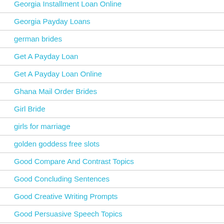Georgia Installment Loan Online
Georgia Payday Loans
german brides
Get A Payday Loan
Get A Payday Loan Online
Ghana Mail Order Brides
Girl Bride
girls for marriage
golden goddess free slots
Good Compare And Contrast Topics
Good Concluding Sentences
Good Creative Writing Prompts
Good Persuasive Speech Topics